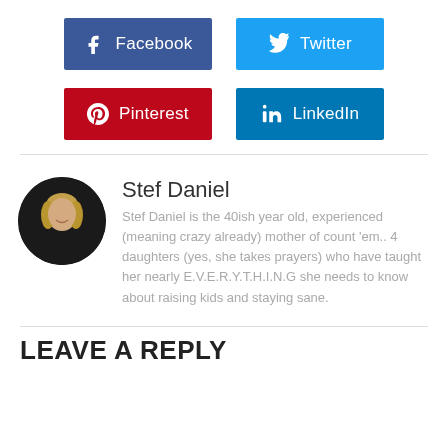[Figure (infographic): Social share buttons row 1: Facebook (dark blue) and Twitter (light blue)]
[Figure (infographic): Social share buttons row 2: Pinterest (red) and LinkedIn (blue)]
Stef Daniel
Stef Daniel is the 40ish year old, experienced (meaning crazy already) mother of count 'em.. 4 daughters (yes, she takes prayers) who have taught her nearly E.V.E.R.Y.T.H.I.N.G she needs to know about raising kids and staying sane.
LEAVE A REPLY